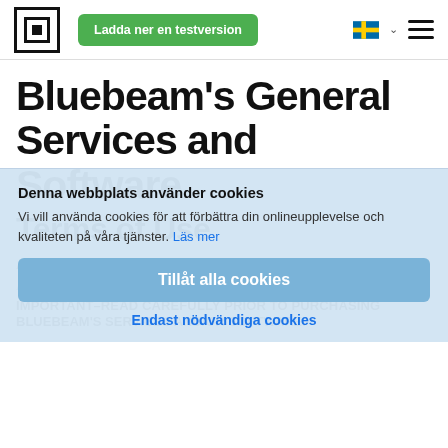[Figure (logo): Bluebeam logo — nested square boxes with inner filled square]
[Figure (screenshot): Green button labeled 'Ladda ner en testversion']
[Figure (illustration): Swedish flag icon with dropdown chevron and hamburger menu icon]
Bluebeam's General Services and Software Terms of Use
As of April 19, 2022
Archived Agreements
IMPORTANT–READ CAREFULLY PRIOR TO PURCHASING BLUEBEAM'S SERVICES AND/OR SOFTWARE.
[Figure (screenshot): Cookie consent overlay: title 'Denna webbplats använder cookies', body text about cookies, 'Tillåt alla cookies' blue button, 'Endast nödvändiga cookies' link]